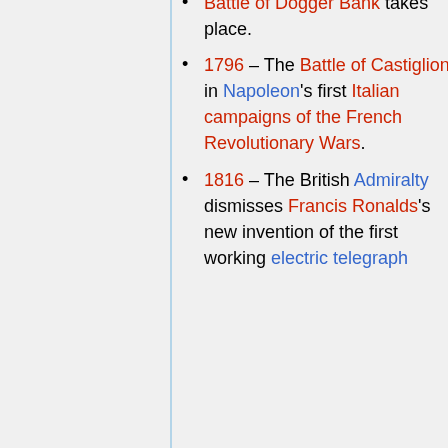Battle of Dogger Bank takes place.
1796 – The Battle of Castiglione in Napoleon's first Italian campaigns of the French Revolutionary Wars.
1816 – The British Admiralty dismisses Francis Ronalds's new invention of the first working electric telegraph